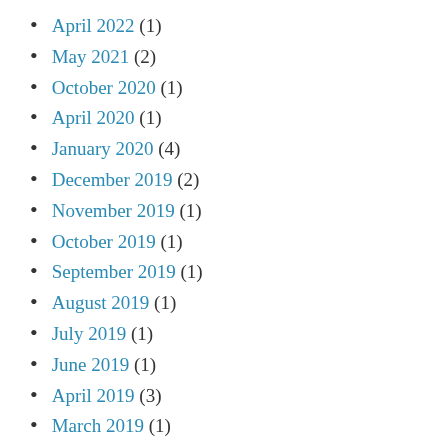April 2022 (1)
May 2021 (2)
October 2020 (1)
April 2020 (1)
January 2020 (4)
December 2019 (2)
November 2019 (1)
October 2019 (1)
September 2019 (1)
August 2019 (1)
July 2019 (1)
June 2019 (1)
April 2019 (3)
March 2019 (1)
January 2019 (2)
April 2018 (1)